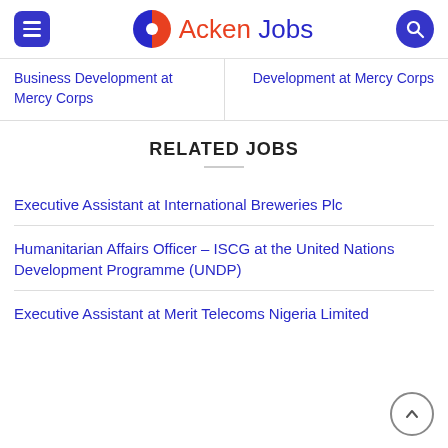Acken Jobs
Business Development at Mercy Corps
Development at Mercy Corps
RELATED JOBS
Executive Assistant at International Breweries Plc
Humanitarian Affairs Officer – ISCG at the United Nations Development Programme (UNDP)
Executive Assistant at Merit Telecoms Nigeria Limited